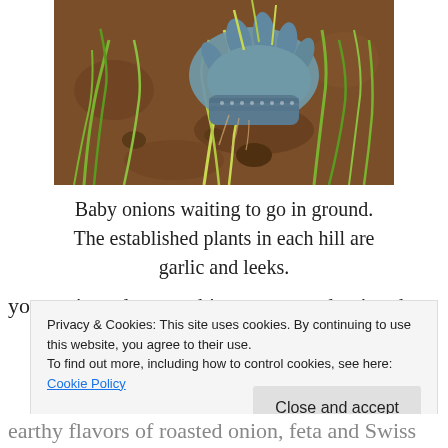[Figure (photo): A gloved hand holding baby onion plants being pulled from brown garden soil, with green shoots visible. Other plants (garlic and leeks) are growing in the background dirt.]
Baby onions waiting to go in ground. The established plants in each hill are garlic and leeks.
your onions do something more productive than
Privacy & Cookies: This site uses cookies. By continuing to use this website, you agree to their use.
To find out more, including how to control cookies, see here: Cookie Policy
earthy flavors of roasted onion, feta and Swiss